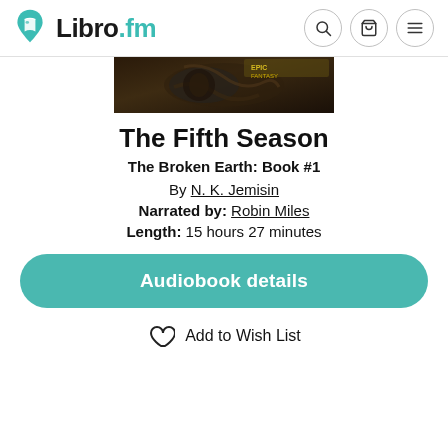Libro.fm
[Figure (photo): Partial book cover image for The Fifth Season showing dark fantasy art]
The Fifth Season
The Broken Earth: Book #1
By N. K. Jemisin
Narrated by: Robin Miles
Length: 15 hours 27 minutes
Audiobook details
Add to Wish List